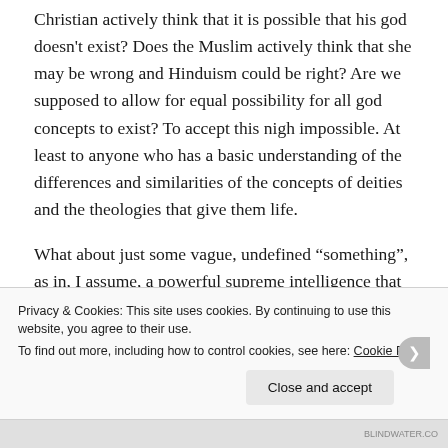Christian actively think that it is possible that his god doesn't exist? Does the Muslim actively think that she may be wrong and Hinduism could be right? Are we supposed to allow for equal possibility for all god concepts to exist? To accept this nigh impossible. At least to anyone who has a basic understanding of the differences and similarities of the concepts of deities and the theologies that give them life.
What about just some vague, undefined “something”, as in, I assume, a powerful supreme intelligence that got it all started? Well, even with that, one must take on a lot of...
Privacy & Cookies: This site uses cookies. By continuing to use this website, you agree to their use.
To find out more, including how to control cookies, see here: Cookie Policy